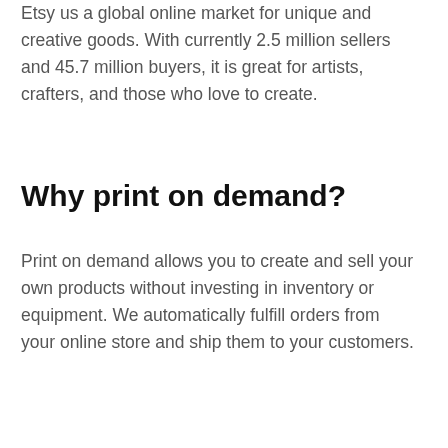Etsy us a global online market for unique and creative goods. With currently 2.5 million sellers and 45.7 million buyers, it is great for artists, crafters, and those who love to create.
Why print on demand?
Print on demand allows you to create and sell your own products without investing in inventory or equipment. We automatically fulfill orders from your online store and ship them to your customers.